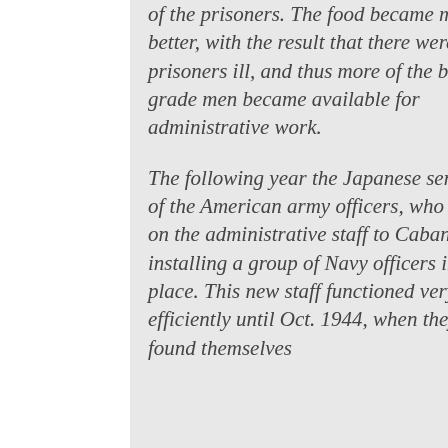of the prisoners. The food became much better, with the result that there were fewer prisoners ill, and thus more of the better grade men became available for administrative work.
The following year the Japanese sent some of the American army officers, who had been on the administrative staff to Cabanatuan, installing a group of Navy officers in their place. This new staff functioned very efficiently until Oct. 1944, when they, too, found themselves